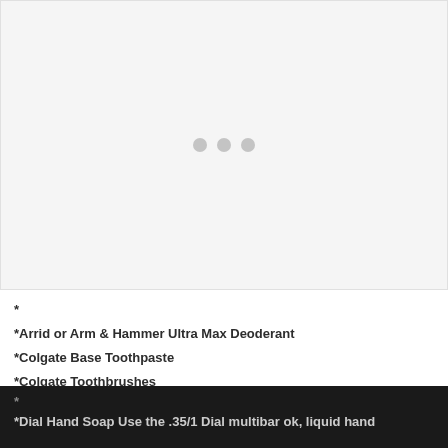[Figure (other): Loading placeholder with three grey dots centered in a light grey box]
*
*Arrid or Arm & Hammer Ultra Max Deoderant
*Colgate Base Toothpaste
*Colgate Toothbrushes
*
*Dial Hand Soap Use the .35/1 Dial multibar ok, liquid hand...